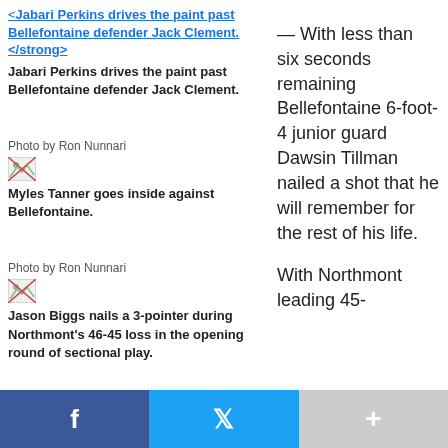<strong> Jabari Perkins drives the paint past Bellefontaine defender Jack Clement.</strong>
Jabari Perkins drives the paint past Bellefontaine defender Jack Clement.
Photo by Ron Nunnari
[Figure (photo): Broken image placeholder for Myles Tanner photo]
Myles Tanner goes inside against Bellefontaine.
Photo by Ron Nunnari
[Figure (photo): Broken image placeholder for Jason Biggs photo]
Jason Biggs nails a 3-pointer during Northmont's 46-45 loss in the opening round of sectional play.
Photo by Ron Nunnari
— With less than six seconds remaining Bellefontaine 6-foot-4 junior guard Dawsin Tillman nailed a shot that he will remember for the rest of his life.

With Northmont leading 45-
f  t  +